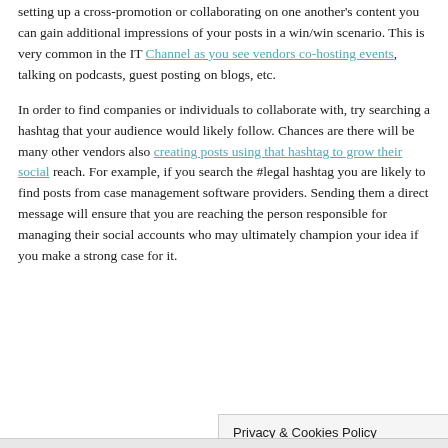setting up a cross-promotion or collaborating on one another's content you can gain additional impressions of your posts in a win/win scenario. This is very common in the IT Channel as you see vendors co-hosting events, talking on podcasts, guest posting on blogs, etc.
In order to find companies or individuals to collaborate with, try searching a hashtag that your audience would likely follow. Chances are there will be many other vendors also creating posts using that hashtag to grow their social reach. For example, if you search the #legal hashtag you are likely to find posts from case management software providers. Sending them a direct message will ensure that you are reaching the person responsible for managing their social accounts who may ultimately champion your idea if you make a strong case for it.
Privacy & Cookies Policy